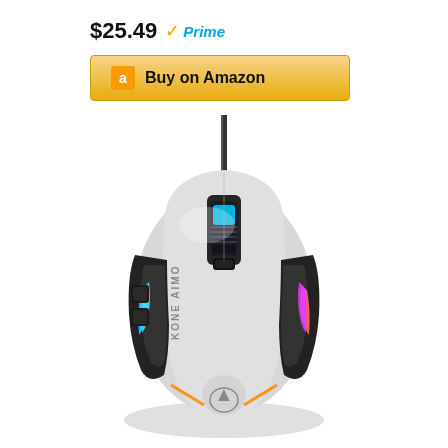$25.49 Prime
Buy on Amazon
[Figure (photo): ROCCAT Kone AIMO gaming mouse in white/gray color with RGB lighting on the sides showing blue and purple/pink colors, viewed from top-down angle with USB cable visible at top. KONE AIMO branding visible on the side.]